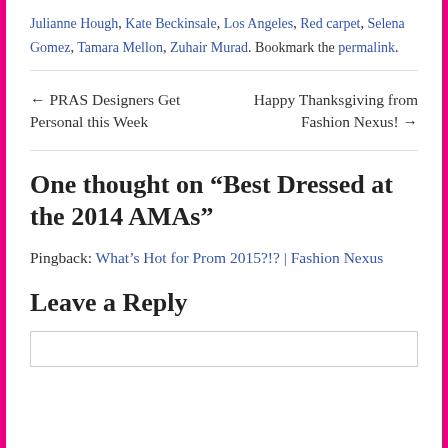Julianne Hough, Kate Beckinsale, Los Angeles, Red carpet, Selena Gomez, Tamara Mellon, Zuhair Murad. Bookmark the permalink.
← PRAS Designers Get Personal this Week    Happy Thanksgiving from Fashion Nexus! →
One thought on “Best Dressed at the 2014 AMAs”
Pingback: What’s Hot for Prom 2015?!? | Fashion Nexus
Leave a Reply